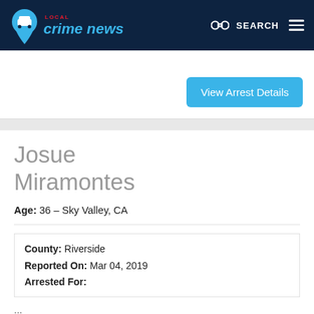LOCAL crime news — SEARCH
View Arrest Details
Josue Miramontes
Age: 36 – Sky Valley, CA
County: Riverside
Reported On: Mar 04, 2019
Arrested For:
...